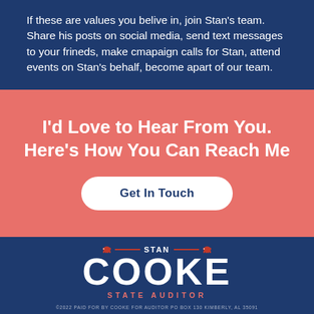If these are values you belive in, join Stan's team. Share his posts on social media, send text messages to your frineds, make cmapaign calls for Stan, attend events on Stan's behalf, become apart of our team.
I'd Love to Hear From You. Here's How You Can Reach Me
Get In Touch
[Figure (logo): Stan Cooke State Auditor campaign logo with elephant icons, red lines, and text on dark blue background]
©2022 PAID FOR BY COOKE FOR AUDITOR PO BOX 130 KIMBERLY, AL 35091